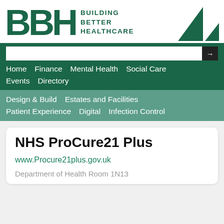[Figure (logo): BBH Building Better Healthcare logo with green triangles on the right]
[Figure (screenshot): Navigation bar with search box and links: Home, Finance, Mental Health, Social Care, Events, Directory]
[Figure (screenshot): Secondary teal navigation bar with: Design & Build, Estates and Facilities, Patient Experience, Digital, Infection Control]
NHS ProCure21 Plus
www.Procure21plus.gov.uk
Department of Health Room 1N13